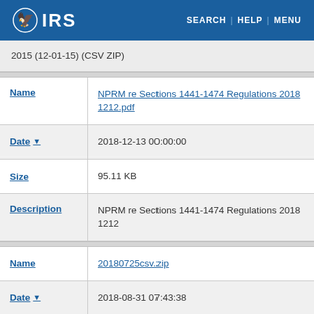IRS — SEARCH | HELP | MENU
| Field | Value |
| --- | --- |
|  | 2015 (12-01-15) (CSV ZIP) |
| Name | NPRM re Sections 1441-1474 Regulations 2018 1212.pdf |
| Date ▼ | 2018-12-13 00:00:00 |
| Size | 95.11 KB |
| Description | NPRM re Sections 1441-1474 Regulations 2018 1212 |
| Name | 20180725csv.zip |
| Date ▼ | 2018-08-31 07:43:38 |
| Size | 6.34 MB |
| Description | FATCA Foreign Financial Institution |